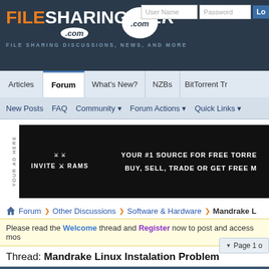FILESHARINGTALK.com — FILE SHARING DISCUSSIONS, NEWS, AND MORE
Articles | Forum | What's New? | NZBs | BitTorrent Tr...
New Posts  FAQ  Community  Forum Actions  Quick Links
[Figure (screenshot): Dark banner advertisement: YOUR #1 SOURCE FOR FREE TORRE... BUY, SELL, TRADE OR GET FREE M...]
Forum ❯ Other Discussions ❯ Software & Hardware ❯ Mandrake L...
Please read the Welcome thread and Register now to post and access mos...
Page 1 o...
Thread: Mandrake Linux Instalation Problem
| bogaaa | 11-21-2003, 12:55 AM |
| --- | --- |
| Poster | I have trouble installing Mandrake Linu... |